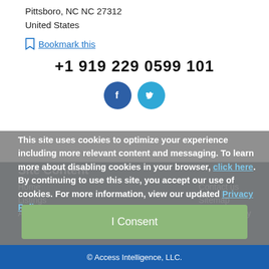Pittsboro, NC NC 27312
United States
Bookmark this
+1 919 229 0599 101
[Figure (illustration): Facebook and Twitter social media icon buttons (circular, dark blue and light blue respectively)]
This site uses cookies to optimize your experience including more relevant content and messaging. To learn more about disabling cookies in your browser, click here. By continuing to use this site, you accept our use of cookies. For more information, view our updated Privacy Policy.
Site Content
Home
Contact us
Listings
Sitemap
Advertise
Privacy Policy
I Consent
© Access Intelligence, LLC.